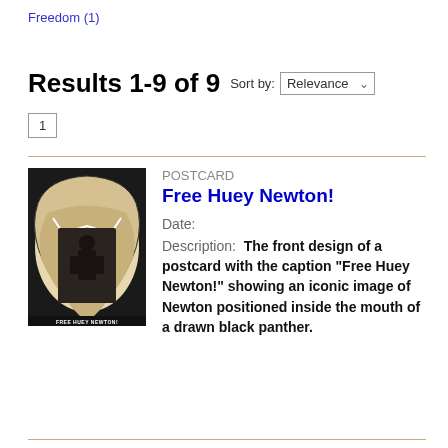Freedom (1)
Results 1-9 of 9
Sort by: Relevance
1
[Figure (photo): Postcard thumbnail showing 'Free Huey Newton!' with an iconic image of Newton positioned inside the mouth of a drawn black panther]
POSTCARD
Free Huey Newton!
Date:
Description:  The front design of a postcard with the caption "Free Huey Newton!" showing an iconic image of Newton positioned inside the mouth of a drawn black panther.